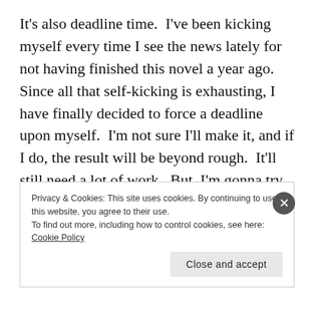It's also deadline time.  I've been kicking myself every time I see the news lately for not having finished this novel a year ago.  Since all that self-kicking is exhausting, I have finally decided to force a deadline upon myself.  I'm not sure I'll make it, and if I do, the result will be beyond rough.  It'll still need a lot of work.  But, I'm gonna try to find my way to The End for The Compass Code by March 31st.
Privacy & Cookies: This site uses cookies. By continuing to use this website, you agree to their use. To find out more, including how to control cookies, see here: Cookie Policy